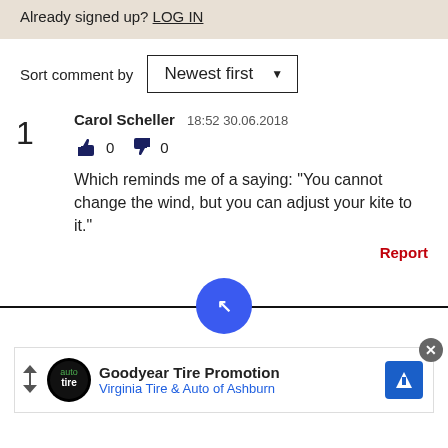Already signed up? LOG IN
Sort comment by  Newest first
1  Carol Scheller  18:52 30.06.2018
👍 0  👎 0
Which reminds me of a saying: "You cannot change the wind, but you can adjust your kite to it."
Report
[Figure (other): Blue circular next-page button with arrow icon centered on a horizontal divider line]
[Figure (other): Goodyear Tire Promotion advertisement banner for Virginia Tire & Auto of Ashburn]